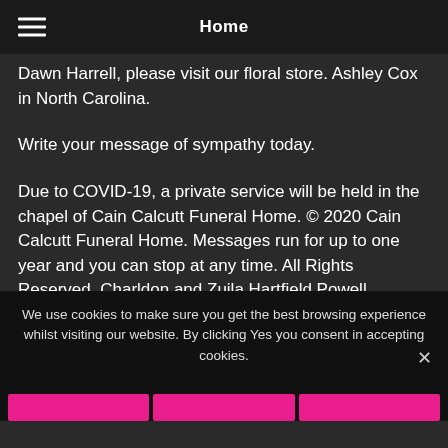Home
Dawn Harrell, please visit our floral store. Ashley Cox in North Carolina.
Write your message of sympathy today.
Due to COVID-19, a private service will be held in the chapel of Cain Calcutt Funeral Home. © 2020 Cain Calcutt Funeral Home. Messages run for up to one year and you can stop at any time. All Rights Reserved. Charldon and Zuila Hartfield Powell.
We use cookies to make sure you get the best browsing experience whilst visiting our website. By clicking Yes you consent in accepting cookies.